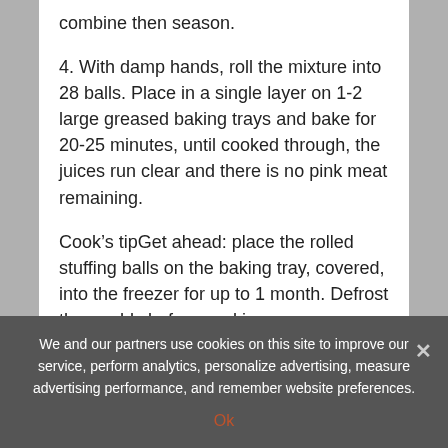combine then season.
4. With damp hands, roll the mixture into 28 balls. Place in a single layer on 1-2 large greased baking trays and bake for 20-25 minutes, until cooked through, the juices run clear and there is no pink meat remaining.
Cook’s tipGet ahead: place the rolled stuffing balls on the baking tray, covered, into the freezer for up to 1 month. Defrost thoroughly before cooking.
We and our partners use cookies on this site to improve our service, perform analytics, personalize advertising, measure advertising performance, and remember website preferences.
Ok